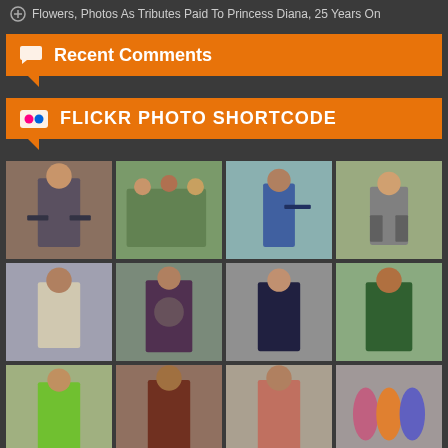Flowers, Photos As Tributes Paid To Princess Diana, 25 Years On
Recent Comments
FLICKR PHOTO SHORTCODE
[Figure (photo): Grid of 12 costume/cosplay photos showing people in various costumes outdoors]
[Figure (infographic): Social media share buttons: Facebook, Twitter, Email, Plus]